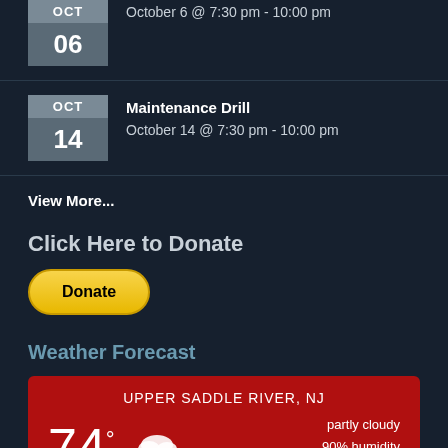October 6 @ 7:30 pm - 10:00 pm
Maintenance Drill
October 14 @ 7:30 pm - 10:00 pm
View More...
Click Here to Donate
[Figure (other): PayPal Donate button - yellow rounded rectangle with text 'Donate']
Weather Forecast
[Figure (infographic): Weather widget showing UPPER SADDLE RIVER, NJ, 74 degrees, partly cloudy icon with wind, partly cloudy, 90% humidity, wind: 1mph WSW]